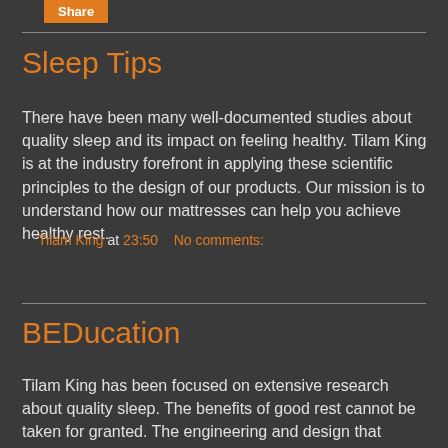Share
Sleep Tips
There have been many well-documented studies about quality sleep and its impact on feeling healthy. Tilam King is at the industry forefront in applying these scientific principles to the design of our products. Our mission is to understand how our mattresses can help you achieve healthy rest.
Tilam King at 23:50    No comments:
Share
BEDucation
Tilam King has been focused on extensive research about quality sleep. The benefits of good rest cannot be taken for granted. The engineering and design that transforms all the various raw materials into a comfortable, restful place is an